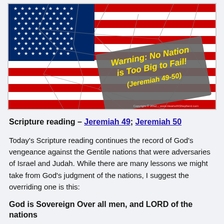[Figure (illustration): American flag with cracked/shattered overlay effect and a gray banner with yellow bold italic text reading 'Warning: No Nation is Too Big to Fail! (Jeremiah 49-50)'. Copyright 2012 www.HeartofAShepherd.com noted at bottom right.]
Scripture reading – Jeremiah 49; Jeremiah 50
Today's Scripture reading continues the record of God's vengeance against the Gentile nations that were adversaries of Israel and Judah. While there are many lessons we might take from God's judgment of the nations, I suggest the overriding one is this:
God is Sovereign Over all men, and LORD of the nations